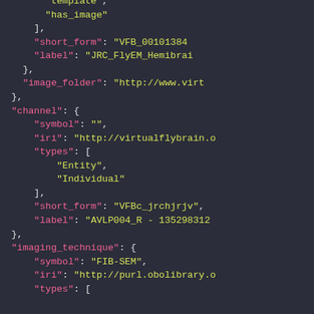JSON/code snippet showing image metadata with fields: template, has_image, short_form (VFB_00101384), label (JRC_FlyEM_Hemibrai...), image_folder (http://www.virt...), channel with symbol, iri (http://virtualflybrain.o...), types [Entity, Individual], short_form (VFBc_jrchjrjv), label (AVLP004_R - 135298312...), imaging_technique with symbol FIB-SEM, iri (http://purl.obolibrary.o...), types [